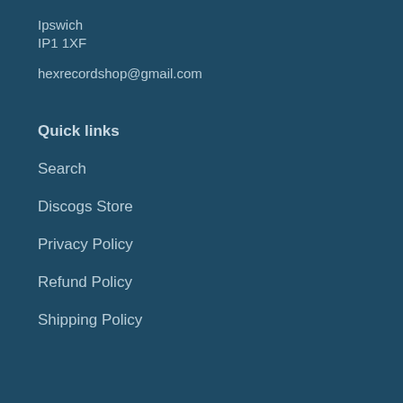Ipswich
IP1 1XF
hexrecordshop@gmail.com
Quick links
Search
Discogs Store
Privacy Policy
Refund Policy
Shipping Policy